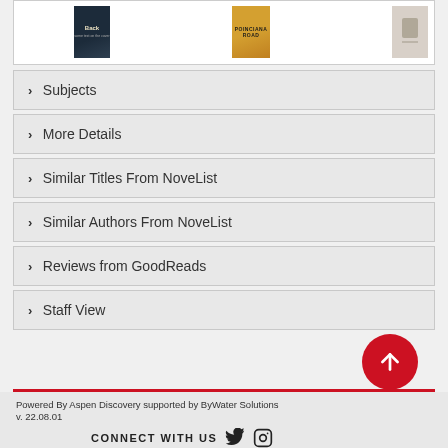[Figure (illustration): Three book covers: 'Back' (dark cover), 'Poinciana Road' (golden/yellow cover), and a third book (light/plain cover)]
Subjects
More Details
Similar Titles From NoveList
Similar Authors From NoveList
Reviews from GoodReads
Staff View
Powered By Aspen Discovery supported by ByWater Solutions
v. 22.08.01
CONNECT WITH US